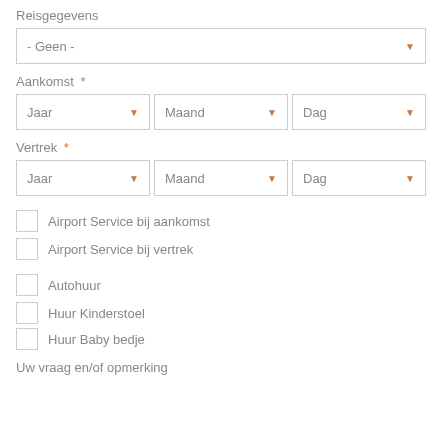Reisgegevens
- Geen -
Aankomst *
Jaar | Maand | Dag
Vertrek *
Jaar | Maand | Dag
Airport Service bij aankomst
Airport Service bij vertrek
Autohuur
Huur Kinderstoel
Huur Baby bedje
Uw vraag en/of opmerking